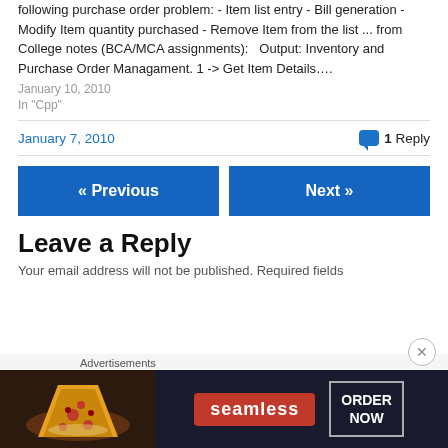following purchase order problem: - Item list entry - Bill generation - Modify Item quantity purchased - Remove Item from the list ... from College notes (BCA/MCA assignments):   Output: Inventory and Purchase Order Managament. 1 -> Get Item Details….
January 10, 2010
In "Cpp"
January 7, 2010
1 Reply
« Previous
Next »
Leave a Reply
Your email address will not be published. Required fields
Advertisements
[Figure (photo): Seamless food delivery advertisement banner with pizza image, Seamless logo, and ORDER NOW button on dark background]